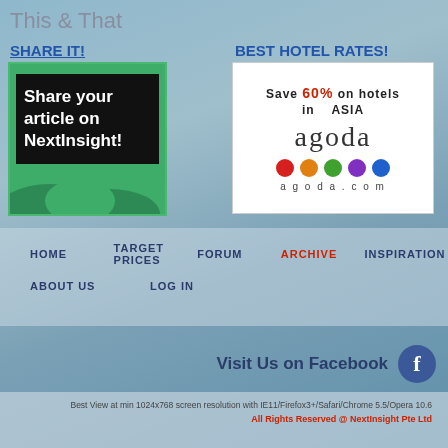This & That
SHARE IT!
[Figure (illustration): Green banner with dark box reading 'Share your article on NextInsight!' with cloud shapes at bottom]
BEST HOTEL RATES!
[Figure (logo): Agoda.com advertisement: 'Save 60% on hotels in ASIA' with agoda logo and colored dots]
HOME
TARGET PRICES
FORUM
ARCHIVE
INSPIRATION
ABOUT US
LOG IN
Visit Us on Facebook
Best View at min 1024x768 screen resolution with IE11/Firefox3+/Safari/Chrome 5.5/Opera 10.6
All Rights Reserved @ NextInsight Pte Ltd